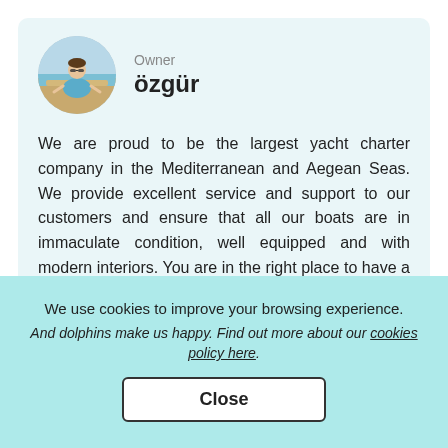Owner
özgür
We are proud to be the largest yacht charter company in the Mediterranean and Aegean Seas. We provide excellent service and support to our customers and ensure that all our boats are in immaculate condition, well equipped and with modern interiors. You are in the right place to have a unique experience.
We use cookies to improve your browsing experience.
And dolphins make us happy. Find out more about our cookies policy here.
Close